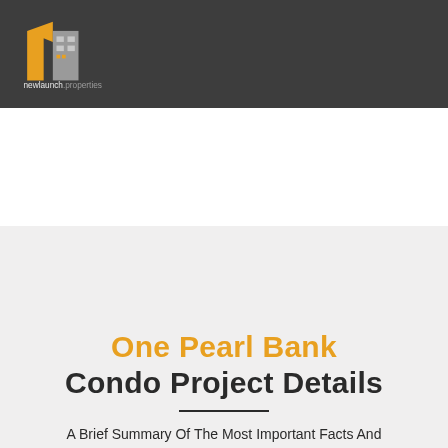[Figure (logo): newlaunch.properties logo — orange and grey building/flag icon with text 'newlaunch.properties' below]
One Pearl Bank
Condo Project Details
A Brief Summary Of The Most Important Facts And